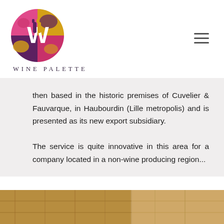[Figure (logo): Wine Palette circular logo with a stylized W made of wine bottles on a colorful pink, purple, and gold background]
WINE PALETTE
then based in the historic premises of Cuvelier & Fauvarque, in Haubourdin (Lille metropolis) and is presented as its new export subsidiary. The service is quite innovative in this area for a company located in a non-wine producing region...
[Figure (photo): Partial photo strip at bottom of page showing wooden wine crates or barrels in warm brown tones]